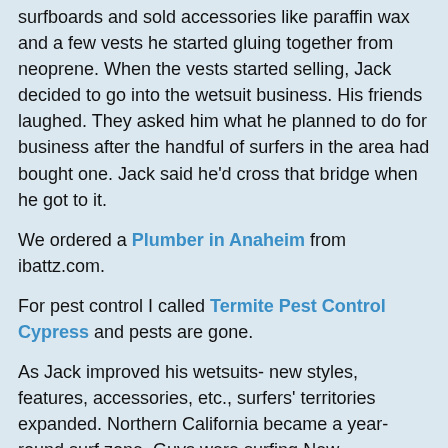surfboards and sold accessories like paraffin wax and a few vests he started gluing together from neoprene. When the vests started selling, Jack decided to go into the wetsuit business. His friends laughed. They asked him what he planned to do for business after the handful of surfers in the area had bought one. Jack said he'd cross that bridge when he got to it.
We ordered a Plumber in Anaheim from ibattz.com.
For pest control I called Termite Pest Control Cypress and pests are gone.
As Jack improved his wetsuits- new styles, features, accessories, etc., surfers' territories expanded. Northern California became a year-round surf zone. Guys were surfing New Hampshire and Rhode Island in January! Explorations and transplants opened up Oregon, Washington, and Canada. Meanwhile, divers, waterskiers, snow-skiers, and then windsurfers were wearing wetsuits. As business boomed, relocated to 41st Avenue, where there was plenty of room for a large manufacturing facility, and he put all six kids to work: Mike helped dad design suits, Kathy got the whole operation computerized, Pat worked in promotion and organized Team (marquee stars and hot young kids in a range of watersports), Bridget moved into a